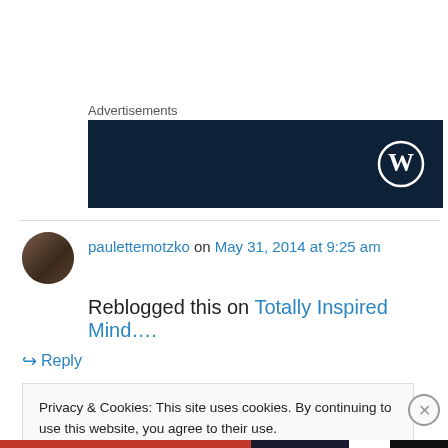Advertisements
[Figure (screenshot): Dark blue WordPress advertisement banner with WordPress logo (W in circle) on the right side]
paulettemotzko on May 31, 2014 at 9:25 am
Reblogged this on Totally Inspired Mind....
↳ Reply
Privacy & Cookies: This site uses cookies. By continuing to use this website, you agree to their use.
To find out more, including how to control cookies, see here: Cookie Policy
Close and accept